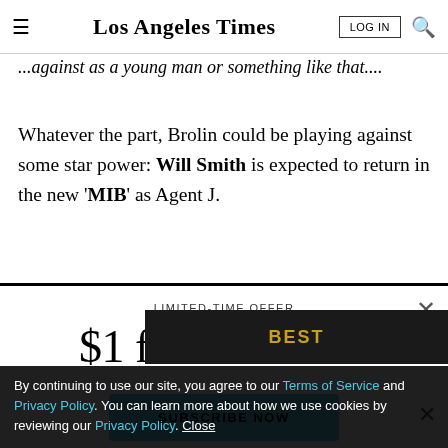Los Angeles Times
...against as a young man or something like that....
Whatever the part, Brolin could be playing against some star power: Will Smith is expected to return in the new 'MIB' as Agent J.
LIMITED-TIME OFFER
$1 for 6 Months
SUBSCRIBE NOW
By continuing to use our site, you agree to our Terms of Service and Privacy Policy. You can learn more about how we use cookies by reviewing our Privacy Policy. Close